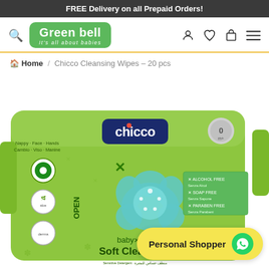FREE Delivery on all Prepaid Orders!
[Figure (logo): Green bell logo - It's all about babies - green rounded rectangle with white text]
Home / Chicco Cleansing Wipes – 20 pcs
[Figure (photo): Chicco Cleansing Wipes 20 pcs product package - green packet with Chicco logo, baby motif flower, OPEN label, alcohol free, soap free, paraben free labels, Soft Cleansing text]
Personal Shopper